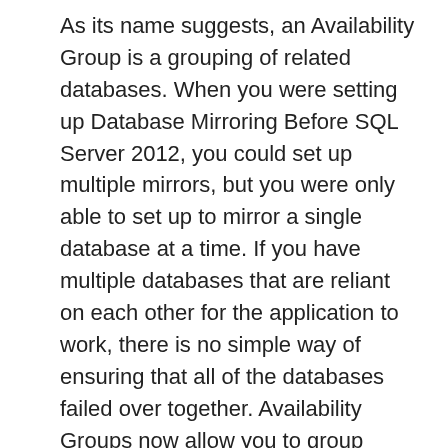As its name suggests, an Availability Group is a grouping of related databases. When you were setting up Database Mirroring Before SQL Server 2012, you could set up multiple mirrors, but you were only able to set up to mirror a single database at a time. If you have multiple databases that are reliant on each other for the application to work, there is no simple way of ensuring that all of the databases failed over together. Availability Groups now allow you to group appropriate databases together. You can setup, up to 10 AAG's on a per instance level. Across these 10 Availability Groups you can have up to 100 replica databases participating.
The benefits given by an Availability Group are that it: